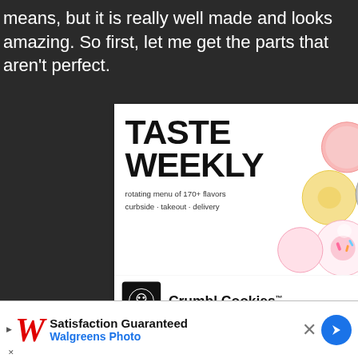means, but it is really well made and looks amazing. So first, let me get the parts that aren't perfect.
[Figure (screenshot): Crumbl Cookies advertisement showing 'TASTE WEEKLY' with rotating menu of 170+ flavors, curbside + takeout + delivery. Shows colorful cookies image, Crumbl Cookies brand logo, and location info for Crumbl Cookies - Ashburn with hours 8AM-10PM and navigation button. Also shows 'No compatible source was found for thi...' message overlay.]
[Figure (screenshot): Walgreens Photo advertisement at bottom: 'Satisfaction Guaranteed' above 'Walgreens Photo' in blue, with Walgreens W logo and navigation arrow button.]